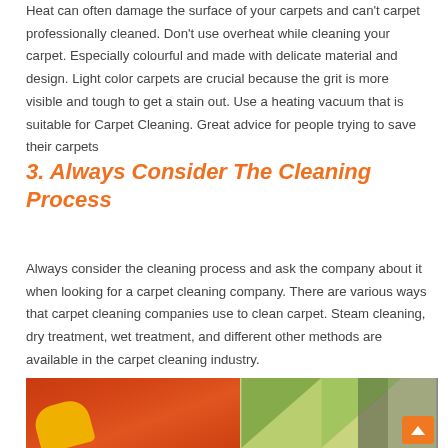Heat can often damage the surface of your carpets and can't carpet professionally cleaned. Don't use overheat while cleaning your carpet. Especially colourful and made with delicate material and design. Light color carpets are crucial because the grit is more visible and tough to get a stain out. Use a heating vacuum that is suitable for Carpet Cleaning. Great advice for people trying to save their carpets
3. Always Consider The Cleaning Process
Always consider the cleaning process and ask the company about it when looking for a carpet cleaning company. There are various ways that carpet cleaning companies use to clean carpet. Steam cleaning, dry treatment, wet treatment, and different other methods are available in the carpet cleaning industry.
[Figure (photo): A person in red clothing with yellow gloves cleaning a colorful carpet, with geometric patterned carpet sections visible in green, yellow, and grey tones on the right side.]